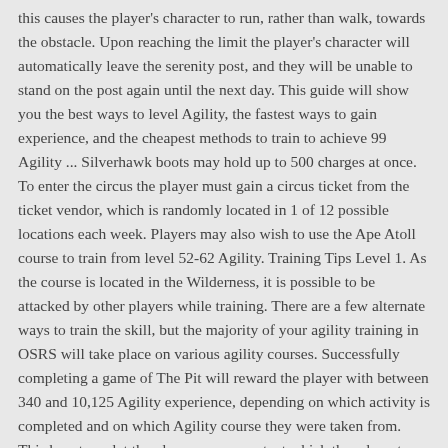this causes the player's character to run, rather than walk, towards the obstacle. Upon reaching the limit the player's character will automatically leave the serenity post, and they will be unable to stand on the post again until the next day. This guide will show you the best ways to level Agility, the fastest ways to gain experience, and the cheapest methods to train to achieve 99 Agility ... Silverhawk boots may hold up to 500 charges at once. To enter the circus the player must gain a circus ticket from the ticket vendor, which is randomly located in 1 of 12 possible locations each week. Players may also wish to use the Ape Atoll course to train from level 52-62 Agility. Training Tips Level 1. As the course is located in the Wilderness, it is possible to be attacked by other players while training. There are a few alternate ways to train the skill, but the majority of your agility training in OSRS will take place on various agility courses. Successfully completing a game of The Pit will reward the player with between 340 and 10,125 Agility experience, depending on which activity is completed and on which Agility course they were taken from. This boost can let the player access content which they do not currently have the required level for, as well as improving the player's success rate in traversing obstacles. You will gain 750 experience if you can complete the course in 4 ... The best location to recognise pkers before they enter the course is near the entrance of the obstacle pipe. Having high agility